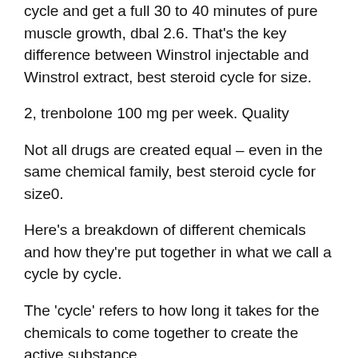cycle and get a full 30 to 40 minutes of pure muscle growth, dbal 2.6. That's the key difference between Winstrol injectable and Winstrol extract, best steroid cycle for size.
2, trenbolone 100 mg per week. Quality
Not all drugs are created equal – even in the same chemical family, best steroid cycle for size0.
Here's a breakdown of different chemicals and how they're put together in what we call a cycle by cycle.
The 'cycle' refers to how long it takes for the chemicals to come together to create the active substance.
There are three basic types, with each corresponding to the three basic categories of muscle growth that we describe below: